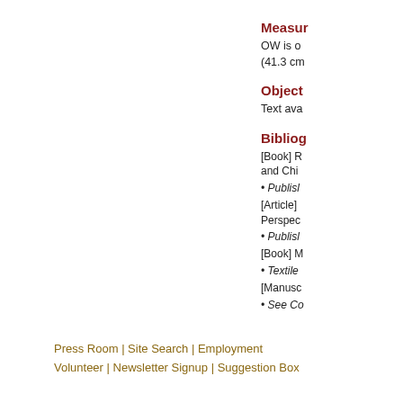Measur
OW is o (41.3 cm
Object
Text ava
Bibliog
[Book] R and Chi
• Publisl
[Article] Perspec
• Publisl
[Book] M
• Textile
[Manusc
• See Co
Press Room | Site Search | Employment Volunteer | Newsletter Signup | Suggestion Box